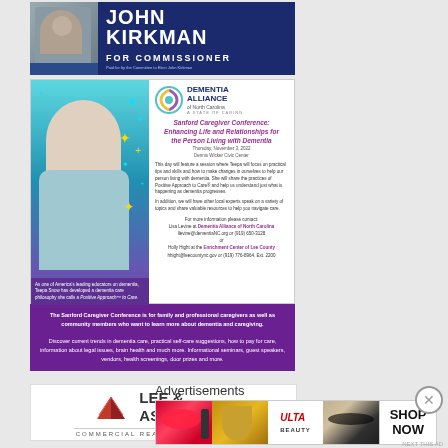[Figure (photo): John Kirkman for Commissioner political advertisement with photo of man in suit and American flag pin, dark blue background]
[Figure (infographic): Dementia Alliance of North Carolina Sanford Caregiver Conference advertisement with photo of smiling woman, event details, and purple bar at bottom about the conference for family and professional caregivers]
[Figure (logo): Lee & Associates Commercial Real Estate Services advertisement with stylized LA logo in red]
Advertisements
[Figure (photo): Ulta Beauty advertisement strip showing cosmetics and makeup images with SHOP NOW call to action]